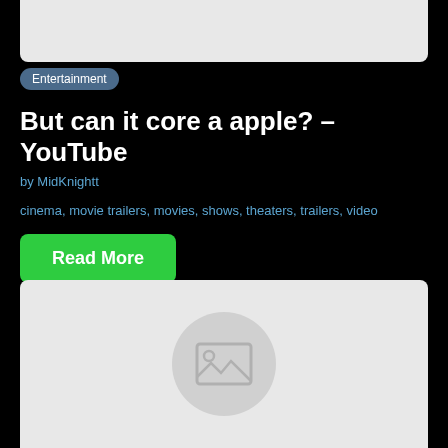[Figure (illustration): Top partial card with light gray background, image placeholder partially visible]
Entertainment
But can it core a apple? – YouTube
by MidKnightt
cinema, movie trailers, movies, shows, theaters, trailers, video
Read More
[Figure (illustration): Bottom card with light gray background and centered image placeholder icon]